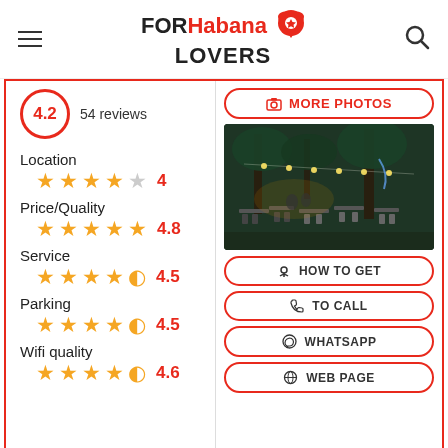FOR Habana LOVERS
4.2 — 54 reviews
[Figure (other): MORE PHOTOS button with camera icon]
[Figure (photo): Outdoor restaurant/bar at night with string lights and greenery]
Location ★★★★☆ 4
Price/Quality ★★★★★ 4.8
Service ★★★★½ 4.5
Parking ★★★★½ 4.5
Wifi quality ★★★★½ 4.6
HOW TO GET
TO CALL
WHATSAPP
WEB PAGE